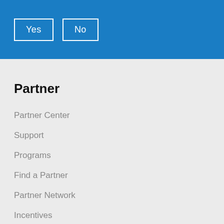[Figure (screenshot): Blue header bar with two button-style boxes labeled 'Yes' and 'No' in white text on blue background]
Partner
Partner Center
Support
Programs
Find a Partner
Partner Network
Incentives
Membership
Get Started Here